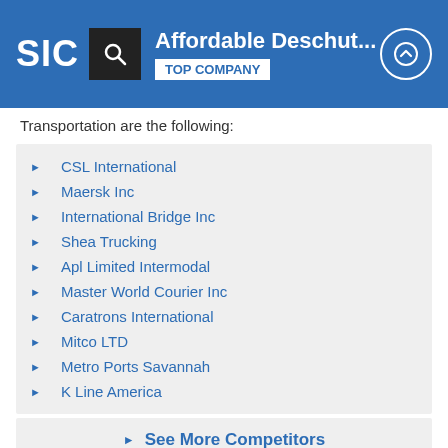Affordable Deschut... TOP COMPANY
Transportation are the following:
CSL International
Maersk Inc
International Bridge Inc
Shea Trucking
Apl Limited Intermodal
Master World Courier Inc
Caratrons International
Mitco LTD
Metro Ports Savannah
K Line America
See More Competitors